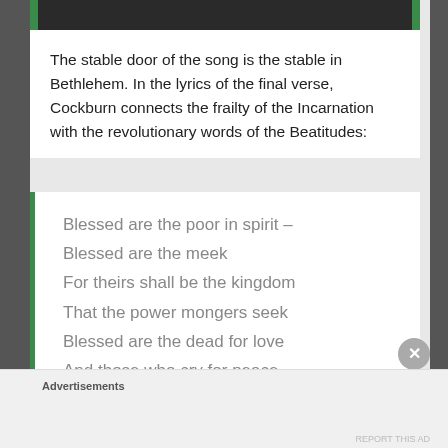[Figure (photo): Partial photo strip at top of page, dark background with green accents on left and right edges]
The stable door of the song is the stable in Bethlehem. In the lyrics of the final verse, Cockburn connects the frailty of the Incarnation with the revolutionary words of the Beatitudes:
Blessed are the poor in spirit –
Blessed are the meek
For theirs shall be the kingdom
That the power mongers seek
Blessed are the dead for love
And those who cry for peace
Advertisements